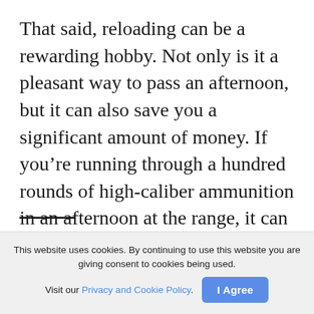That said, reloading can be a rewarding hobby. Not only is it a pleasant way to pass an afternoon, but it can also save you a significant amount of money. If you're running through a hundred rounds of high-caliber ammunition in an afternoon at the range, it can run you upwards of $100. For $10-$20 and a few hours of your time, you can reload the same amount of ammo.
This website uses cookies. By continuing to use this website you are giving consent to cookies being used. Visit our Privacy and Cookie Policy.